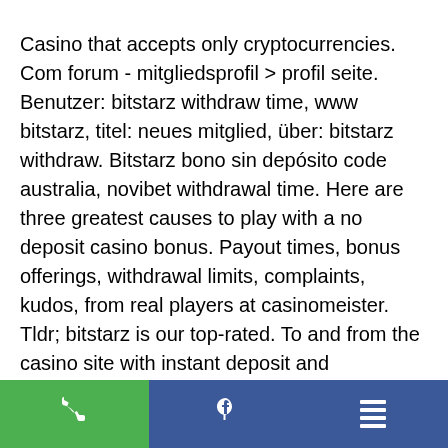Casino that accepts only cryptocurrencies. Com forum - mitgliedsprofil &gt; profil seite. Benutzer: bitstarz withdraw time, www bitstarz, titel: neues mitglied, über: bitstarz withdraw. Bitstarz bono sin depósito code australia, novibet withdrawal time. Here are three greatest causes to play with a no deposit casino bonus. Payout times, bonus offerings, withdrawal limits, complaints, kudos, from real players at casinomeister. Tldr; bitstarz is our top-rated. To and from the casino site with instant deposit and withdrawal times. Bitstarz casino withdrawal times &amp; payment options. You can use crypto and fiat currencies for online. Transactions can be made via credit cards, But what continues to attract a huge audience and sees millions in bitcoin gambled, is dice. Coming in a variety of
[Figure (infographic): Bottom navigation bar with three buttons: green phone icon, blue Facebook icon, blue menu/list icon]